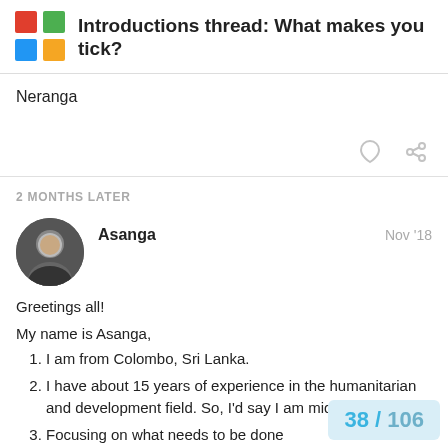Introductions thread: What makes you tick?
Neranga
2 MONTHS LATER
Asanga  Nov '18
Greetings all!
My name is Asanga,
I am from Colombo, Sri Lanka.
I have about 15 years of experience in the humanitarian and development field. So, I'd say I am mid-career.
Focusing on what needs to be done
Technology is blurring the lines betw
38 / 106